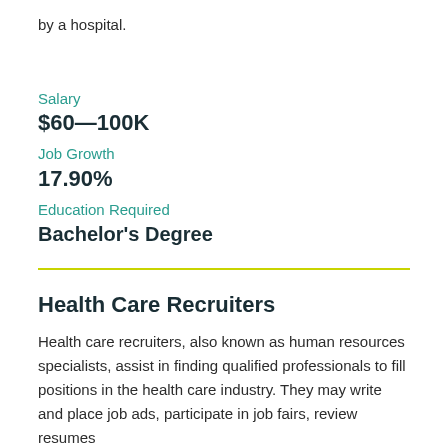by a hospital.
Salary
$60—100K
Job Growth
17.90%
Education Required
Bachelor's Degree
Health Care Recruiters
Health care recruiters, also known as human resources specialists, assist in finding qualified professionals to fill positions in the health care industry. They may write and place job ads, participate in job fairs, review resumes